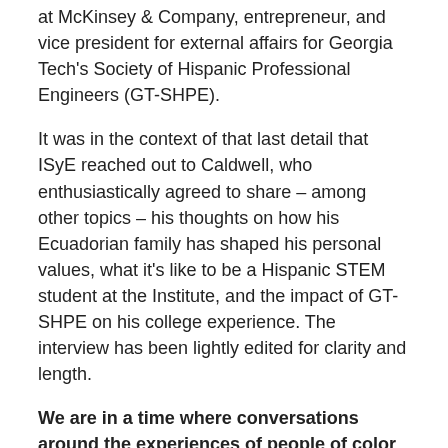at McKinsey & Company, entrepreneur, and vice president for external affairs for Georgia Tech's Society of Hispanic Professional Engineers (GT-SHPE).
It was in the context of that last detail that ISyE reached out to Caldwell, who enthusiastically agreed to share – among other topics – his thoughts on how his Ecuadorian family has shaped his personal values, what it's like to be a Hispanic STEM student at the Institute, and the impact of GT-SHPE on his college experience. The interview has been lightly edited for clarity and length.
We are in a time where conversations around the experiences of people of color are being rightfully foregrounded. What thoughts have you had about